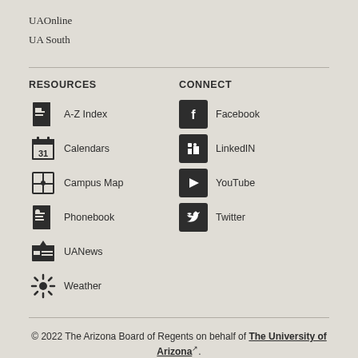UAOnline
UA South
RESOURCES
A-Z Index
Calendars
Campus Map
Phonebook
UANews
Weather
CONNECT
Facebook
LinkedIN
YouTube
Twitter
© 2022 The Arizona Board of Regents on behalf of The University of Arizona.